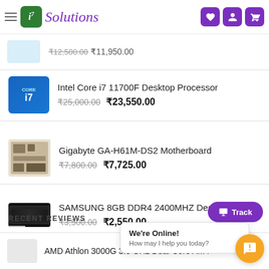i7 Solutions
₹12,500.00  ₹11,950.00
Intel Core i7 11700F Desktop Processor
₹25,000.00  ₹23,550.00
Gigabyte GA-H61M-DS2 Motherboard
₹7,800.00  ₹7,725.00
SAMSUNG 8GB DDR4 2400MHZ Desktop RAM
₹3,500.00  ₹2,550.00
RECENT REVIEWS
AMD Athlon 3000G 3.5 GHz Dual-Core AM4
We're Online!
How may I help you today?